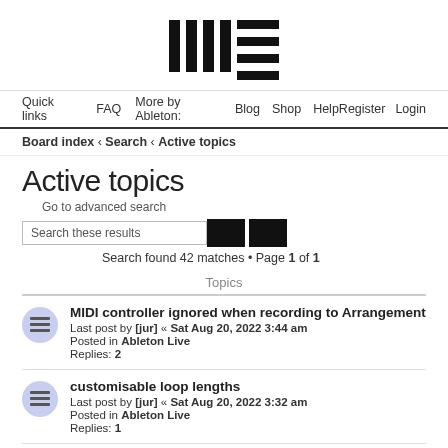[Figure (logo): Ableton forum logo — vertical bars with horizontal lines]
Quick links  FAQ  More by Ableton:  Blog  Shop  Help  Register  Login
Board index › Search › Active topics
Active topics
Go to advanced search
Search found 42 matches • Page 1 of 1
Topics
MIDI controller ignored when recording to Arrangement
Last post by [jur] « Sat Aug 20, 2022 3:44 am
Posted in Ableton Live
Replies: 2
customisable loop lengths
Last post by [jur] « Sat Aug 20, 2022 3:32 am
Posted in Ableton Live
Replies: 1
MIDI TIMING ERROR USING CAPTURE